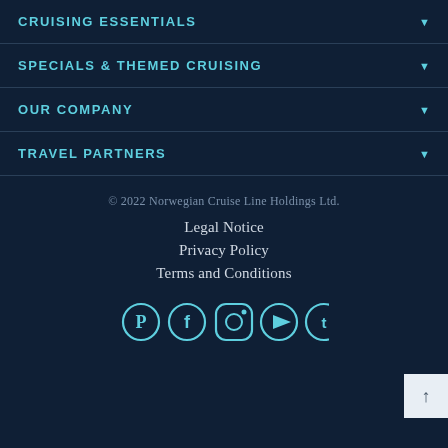CRUISING ESSENTIALS
SPECIALS & THEMED CRUISING
OUR COMPANY
TRAVEL PARTNERS
© 2022 Norwegian Cruise Line Holdings Ltd.
Legal Notice
Privacy Policy
Terms and Conditions
[Figure (illustration): Social media icons: Pinterest, Facebook, Instagram, YouTube, Twitter in cyan color on dark navy background]